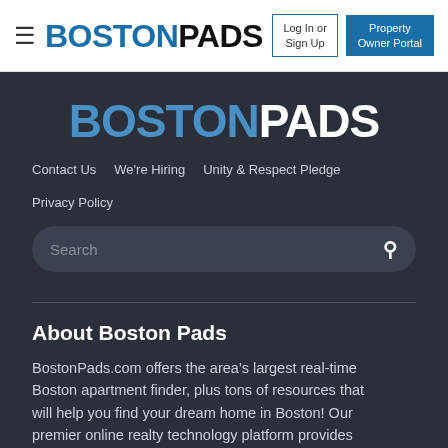BOSTONPADS — Log In or Sign Up | Property Owner Portal
[Figure (logo): BostonPads logo in dark section — BOSTON in blue, PADS in white, large bold]
Contact Us  We're Hiring  Unity & Respect Pledge  Privacy Policy
Search
About Boston Pads
BostonPads.com offers the area's largest real-time Boston apartment finder, plus tons of resources that will help you find your dream home in Boston! Our premier online realty technology platform provides cutting edge tools, innovating the way people in Boston: buy, sell, rent